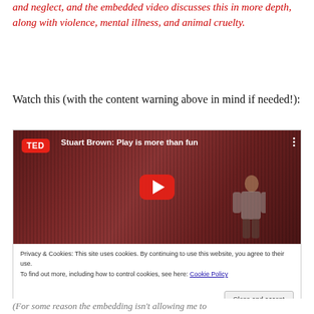and neglect, and the embedded video discusses this in more depth, along with violence, mental illness, and animal cruelty.
Watch this (with the content warning above in mind if needed!):
[Figure (screenshot): Embedded YouTube TED video thumbnail: 'Stuart Brown: Play is more than fun' with red TED logo, play button, and a cookie consent notice at the bottom with a 'Close and accept' button.]
(For some reason the embedding isn't allowing me to